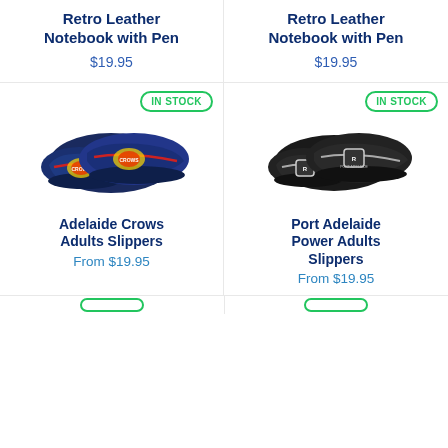Retro Leather Notebook with Pen
$19.95
Retro Leather Notebook with Pen
$19.95
[Figure (photo): Adelaide Crows navy blue adults slippers with team logo, shown as a pair. IN STOCK badge visible.]
[Figure (photo): Port Adelaide Power black adults slippers with team logo, shown as a pair. IN STOCK badge visible.]
Adelaide Crows Adults Slippers
From $19.95
Port Adelaide Power Adults Slippers
From $19.95